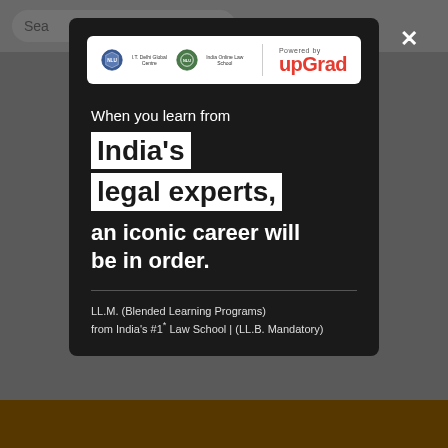[Figure (screenshot): Mobile app screenshot background with search bar and golden bottom bar, overlaid by a dark modal popup]
[Figure (logo): Logo bar showing two institution logos and 'Powered by upGrad' branding in red on white background]
When you learn from
India's legal experts,
an iconic career will be in order.
LL.M. (Blended Learning Programs) from India's #1* Law School | (LL.B. Mandatory)